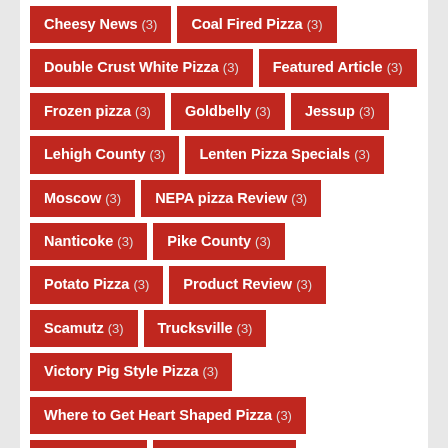Cheesy News (3)
Coal Fired Pizza (3)
Double Crust White Pizza (3)
Featured Article (3)
Frozen pizza (3)
Goldbelly (3)
Jessup (3)
Lehigh County (3)
Lenten Pizza Specials (3)
Moscow (3)
NEPA pizza Review (3)
Nanticoke (3)
Pike County (3)
Potato Pizza (3)
Product Review (3)
Scamutz (3)
Trucksville (3)
Victory Pig Style Pizza (3)
Where to Get Heart Shaped Pizza (3)
cold pizza (3)
pizza near me (3)
stuffed pizza (3)
Allentown (2)
Avoca (2)
Berwick (2)
Best Pan Fried Sicilian Pi...